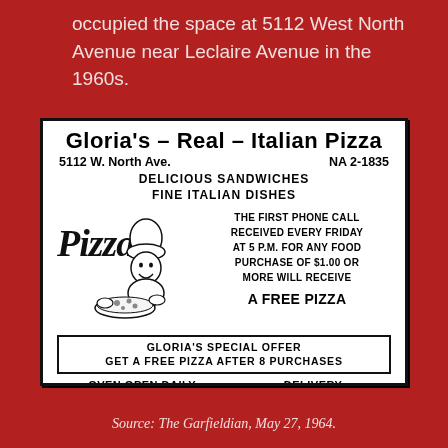occupied the space at 5112 West North Avenue near Leclaire Avenue in the 1960s.
[Figure (illustration): Vintage newspaper advertisement for Gloria's Real Italian Pizza. Shows business name, address (5112 W. North Ave.), phone (NA 2-1835), services (Delicious Sandwiches, Fine Italian Dishes), a stylized 'Pizza' logo with a chef illustration, promotional offer for a free pizza for the first phone call every Friday at 5 P.M. for any food purchase of $1.00 or more, a special offer of a free pizza after 8 purchases, and hours: Oven Open Daily 4:00 P.M., Delivery After 5:00 P.M.]
Source: The Garfieldian, May 27, 1964.